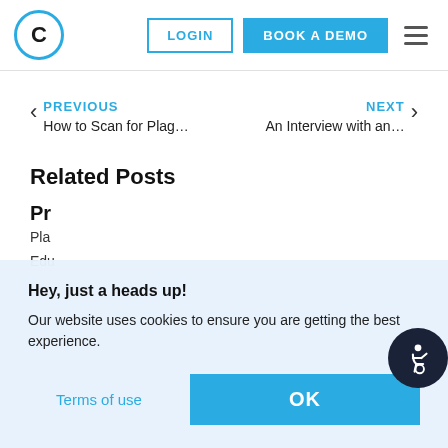C | LOGIN | BOOK A DEMO
PREVIOUS
How to Scan for Plag...
NEXT
An Interview with an...
Related Posts
Pr
Pla
Edu
Hey, just a heads up!
Our website uses cookies to ensure you are getting the best experience.
Terms of use
OK